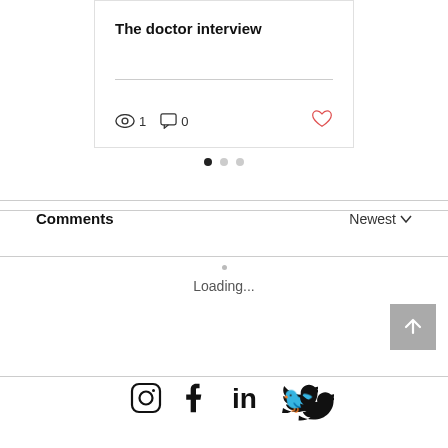The doctor interview
[Figure (screenshot): Blog post card with title 'The doctor interview', a divider, eye icon with count 1, comment icon with count 0, and a red heart icon]
[Figure (infographic): Carousel pagination dots: one filled black dot and two lighter gray dots]
Comments
Newest
Loading...
[Figure (infographic): Back to top button with upward chevron arrow on gray background]
[Figure (infographic): Social media icons row: Instagram, Facebook, LinkedIn, Twitter]